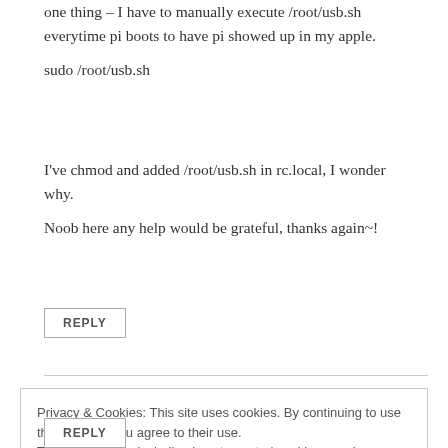one thing – I have to manually execute /root/usb.sh everytime pi boots to have pi showed up in my apple.
sudo /root/usb.sh
I've chmod and added /root/usb.sh in rc.local, I wonder why.
Noob here any help would be grateful, thanks again~!
REPLY
Privacy & Cookies: This site uses cookies. By continuing to use this website, you agree to their use.
To find out more, including how to control cookies, see here: Cookie Policy
Close and accept
REPLY